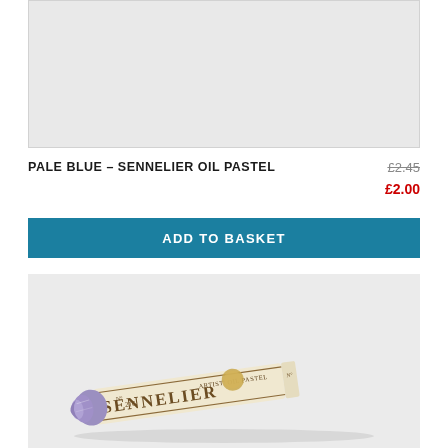[Figure (photo): Top product image area showing light grey placeholder background for Sennelier Oil Pastel product]
PALE BLUE – SENNELIER OIL PASTEL
£2.45 (original price, struck through) £2.00 (sale price in red)
ADD TO BASKET
[Figure (photo): Photo of a Sennelier Artist Oil Pastel No. 216 (pale blue/violet colour) lying diagonally, showing the cream paper wrapper with gold Sennelier branding and the pale purple waxy tip]